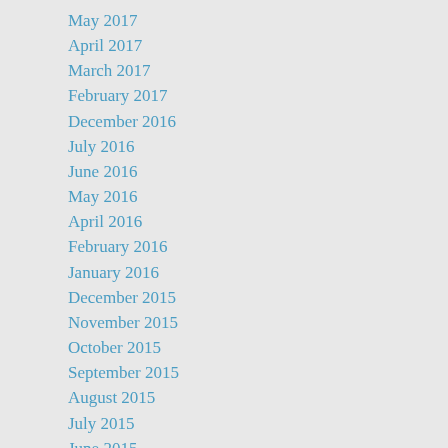May 2017
April 2017
March 2017
February 2017
December 2016
July 2016
June 2016
May 2016
April 2016
February 2016
January 2016
December 2015
November 2015
October 2015
September 2015
August 2015
July 2015
June 2015
May 2015
April 2015